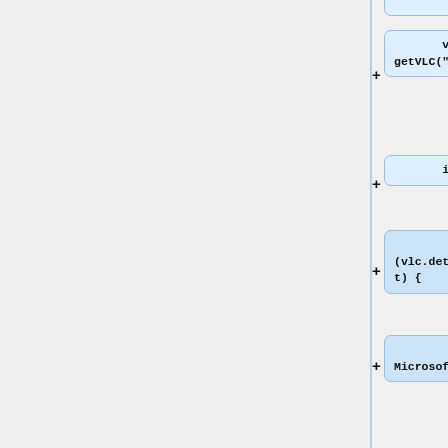[Figure (flowchart): Flowchart showing code diff/patch blocks with + indicators and code snippets: 'var vlc = getVLC("vlc");', 'if (vlc) {', 'if (vlc.detachEvent) {', '// Microsoft', 'vlc.detachEvent(event, handler);', '} else if (vlc.removeEventListener) {', '// Mozilla: DOM level 2']